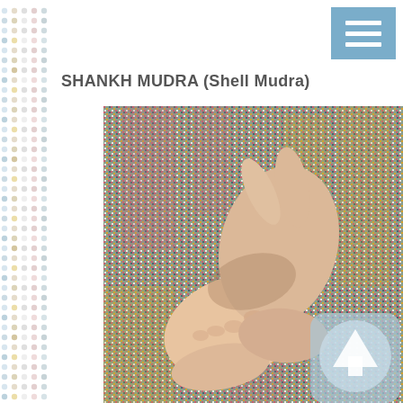[Figure (other): Decorative dot border pattern on left side of page with multicolored dots arranged in columns]
[Figure (other): Blue hamburger menu button in top right corner with three white horizontal lines]
SHANKH MUDRA (Shell Mudra)
[Figure (photo): Photograph of two hands performing Shankh Mudra (Shell Mudra) against a colorful woven textile background. The fingers are interlocked in a shell-like formation. A semi-transparent scroll-up arrow icon is overlaid in the bottom right corner of the image.]